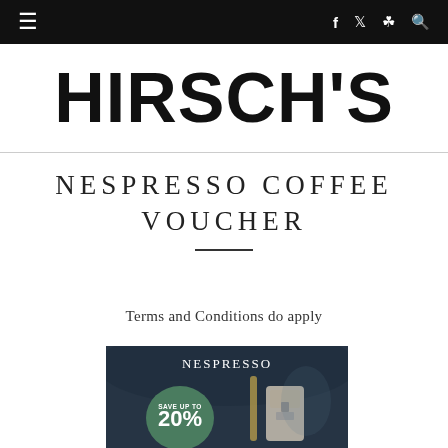≡  f  𝕏  📷  🔍
HIRSCH'S
NESPRESSO COFFEE VOUCHER
Terms and Conditions do apply
[Figure (photo): Nespresso promotional image showing a coffee machine and a green circular badge reading 'SAVE UP TO 20%' with the Nespresso logo at the top.]